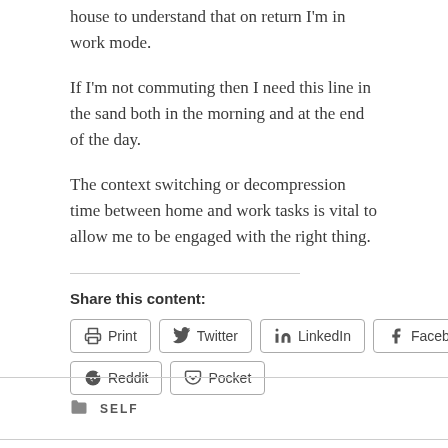house to understand that on return I'm in work mode.
If I'm not commuting then I need this line in the sand both in the morning and at the end of the day.
The context switching or decompression time between home and work tasks is vital to allow me to be engaged with the right thing.
Share this content:
Print | Twitter | LinkedIn | Facebook | Reddit | Pocket
SELF